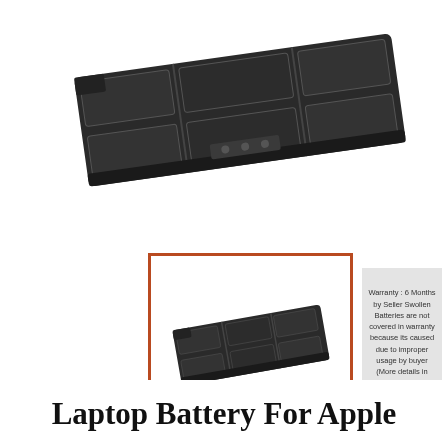[Figure (photo): Laptop battery pack photographed at an angle on a white background, showing a multi-cell dark grey/black rectangular battery with connector terminals]
[Figure (photo): Smaller thumbnail image of the same laptop battery, shown inside an orange/red square border frame]
Warranty : 6 Months by Seller Swollen Batteries are not covered in warranty because its caused due to improper usage by buyer (More details in bullet point 4
Laptop Battery For Apple